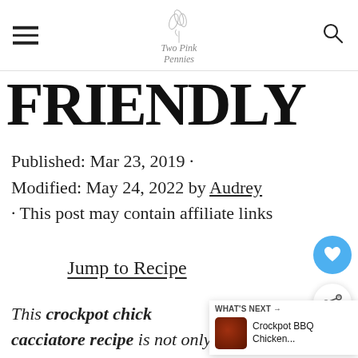Two Pink Pennies
FRIENDLY
Published: Mar 23, 2019 · Modified: May 24, 2022 by Audrey · This post may contain affiliate links
Jump to Recipe
This crockpot chick cacciatore recipe is not only an